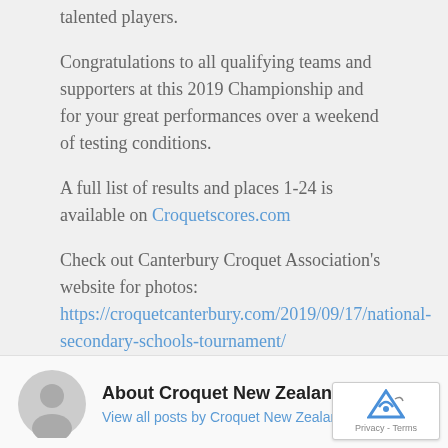talented players.
Congratulations to all qualifying teams and supporters at this 2019 Championship and for your great performances over a weekend of testing conditions.
A full list of results and places 1-24 is available on Croquetscores.com
Check out Canterbury Croquet Association’s website for photos: https://croquetcanterbury.com/2019/09/17/national-secondary-schools-tournament/
About Croquet New Zealand
View all posts by Croquet New Zealand →